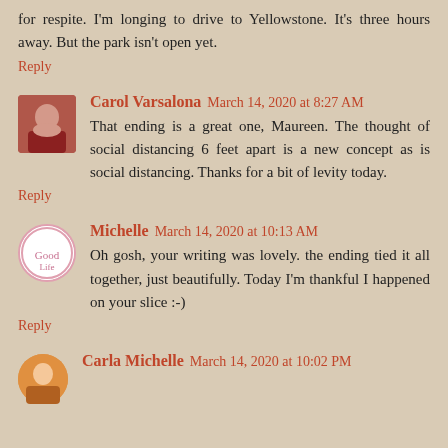for respite. I'm longing to drive to Yellowstone. It's three hours away. But the park isn't open yet.
Reply
Carol Varsalona March 14, 2020 at 8:27 AM
That ending is a great one, Maureen. The thought of social distancing 6 feet apart is a new concept as is social distancing. Thanks for a bit of levity today.
Reply
Michelle March 14, 2020 at 10:13 AM
Oh gosh, your writing was lovely. the ending tied it all together, just beautifully. Today I'm thankful I happened on your slice :-)
Reply
Carla Michelle March 14, 2020 at 10:02 PM